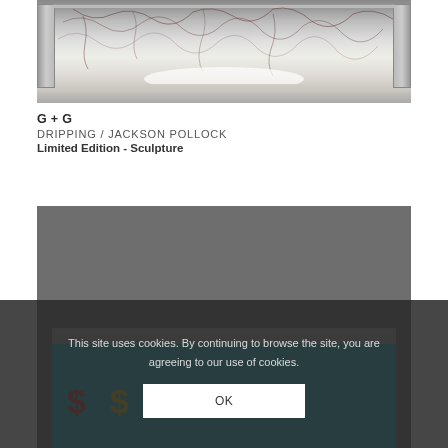[Figure (photo): Photo of a clear acrylic/plexiglass sculpture box containing black drip-paint artwork in the style of Jackson Pollock, placed on a white surface with bright light glow at the bottom]
G + G
DRIPPING / JACKSON POLLOCK
Limited Edition - Sculpture
[Figure (photo): Photo of a clear acrylic sculpture box containing colorful pop-art style Dollar sign artwork on a teal/cyan background reminiscent of Andy Warhol, photographed against a gray background]
This site uses cookies. By continuing to browse the site, you are agreeing to our use of cookies.
OK